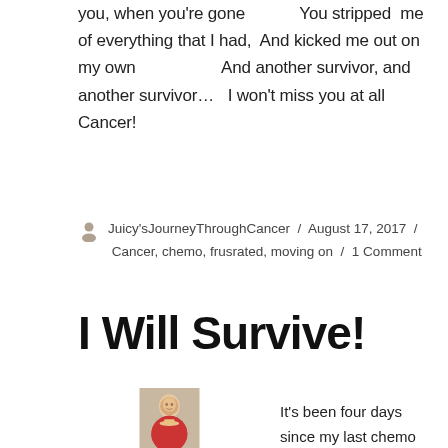you, when you're gone   You stripped me of everything that I had,  And kicked me out on my own              And another survivor, and another survivor…   I won't miss you at all Cancer!
Juicy'sJourneyThroughCancer / August 17, 2017 / Cancer, chemo, frusrated, moving on / 1 Comment
I Will Survive!
[Figure (photo): Photo of a smiling bald woman wearing a red top]
It's been four days since my last chemo treatment (#7) this would be